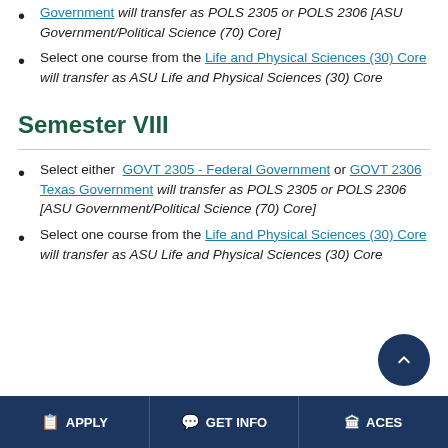Government will transfer as POLS 2305 or POLS 2306 [ASU Government/Political Science (70) Core]
Select one course from the Life and Physical Sciences (30) Core will transfer as ASU Life and Physical Sciences (30) Core
Semester VIII
Select either GOVT 2305 - Federal Government or GOVT 2306 Texas Government will transfer as POLS 2305 or POLS 2306 [ASU Government/Political Science (70) Core]
Select one course from the Life and Physical Sciences (30) Core will transfer as ASU Life and Physical Sciences (30) Core
APPLY | GET INFO | ACES